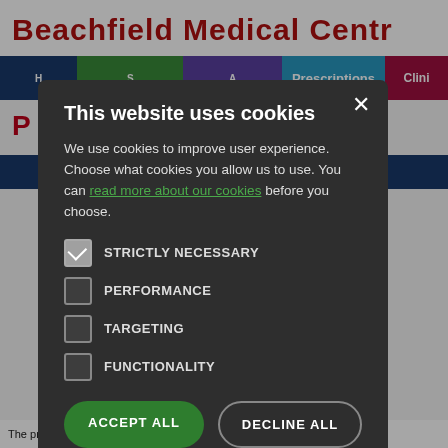Beachfield Medical Centre
[Figure (screenshot): Navigation bar of Beachfield Medical Centre website with colored tabs: Home (dark blue), (green tab), Appointments (purple tab), Prescriptions (cyan tab), Clini... (crimson tab)]
This website uses cookies
We use cookies to improve user experience. Choose what cookies you allow us to use. You can read more about our cookies before you choose.
STRICTLY NECESSARY (checked)
PERFORMANCE
TARGETING
FUNCTIONALITY
ACCEPT ALL | DECLINE ALL
The practice complies with data protection and access to medical record...